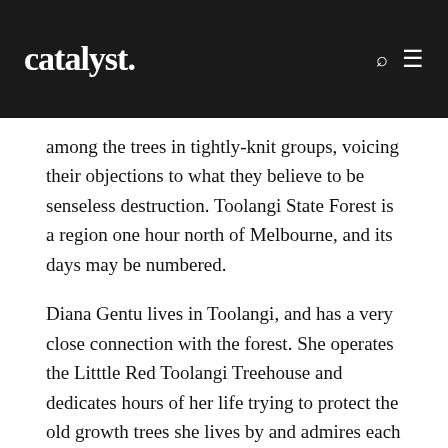catalyst.
among the trees in tightly-knit groups, voicing their objections to what they believe to be senseless destruction. Toolangi State Forest is a region one hour north of Melbourne, and its days may be numbered.
Diana Gentu lives in Toolangi, and has a very close connection with the forest. She operates the Litttle Red Toolangi Treehouse and dedicates hours of her life trying to protect the old growth trees she lives by and admires each morning.
With a crackle in her voice, Diana told Catalyst what is happening to the forest is “absolutely senseless, opportunistic, and I think, morally bankrupt”.
What exactly endangers this landscape is the point of